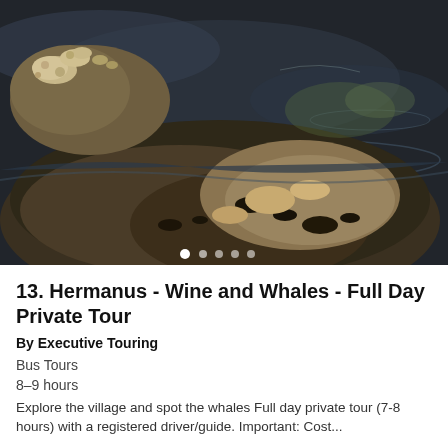[Figure (photo): Close-up photograph of a whale (likely a right whale or humpback) at the water surface, showing its bumpy, barnacle-covered head and mottled dark body against dark blue-grey water. Image carousel with 5 dots indicator at the bottom.]
13. Hermanus - Wine and Whales - Full Day Private Tour
By Executive Touring
Bus Tours
8–9 hours
Explore the village and spot the whales Full day private tour (7-8 hours) with a registered driver/guide. Important: Cost...
Taking safety measures